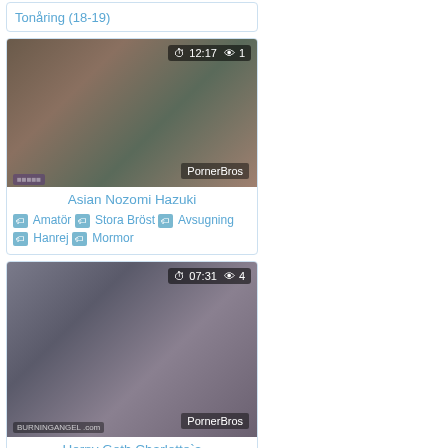Tonåring (18-19)
[Figure (photo): Thumbnail image for Asian Nozomi Hazuki video, showing duration 12:17 and 1 view, with PornerBros watermark]
Asian Nozomi Hazuki
🏷 Amatör 🏷 Stora Bröst 🏷 Avsugning 🏷 Hanrej 🏷 Mormor
[Figure (photo): Thumbnail image for Horny Goth Charlotte's video, showing duration 07:31 and 4 views, with PornerBros watermark and BurningAngel.com logo]
Horny Goth Charlotte`s
🏷 Cfnm 🏷 Fest 🏷 Strip